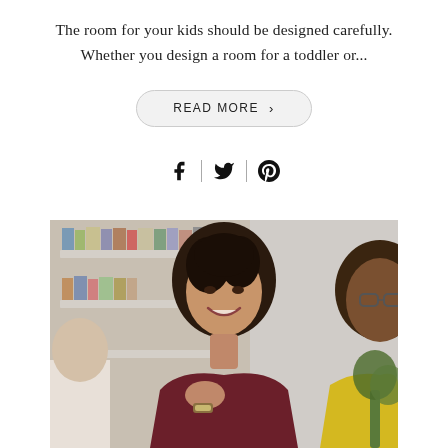The room for your kids should be designed carefully. Whether you design a room for a toddler or...
READ MORE >
[Figure (other): Social media share icons: Facebook, Twitter, Pinterest separated by vertical dividers]
[Figure (photo): A smiling woman with curly dark hair wearing a burgundy/maroon blouse, sitting with her hand raised near her chin. Bookshelves visible in the background. A man with glasses in a yellow shirt is partially visible on the right side.]